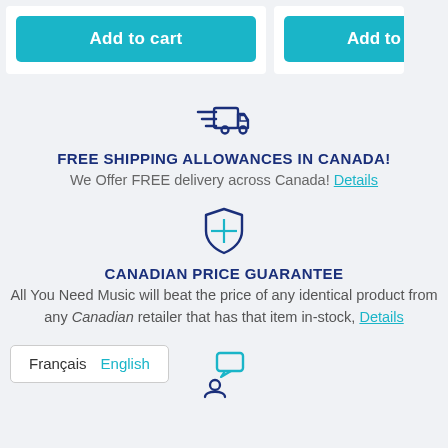[Figure (screenshot): Two product cards with teal 'Add to cart' buttons at top of page]
[Figure (illustration): Delivery truck icon with speed lines in dark blue]
FREE SHIPPING ALLOWANCES IN CANADA!
We Offer FREE delivery across Canada! Details
[Figure (illustration): Shield with plus/cross icon in dark blue and teal]
CANADIAN PRICE GUARANTEE
All You Need Music will beat the price of any identical product from any Canadian retailer that has that item in-stock, Details
Français  English